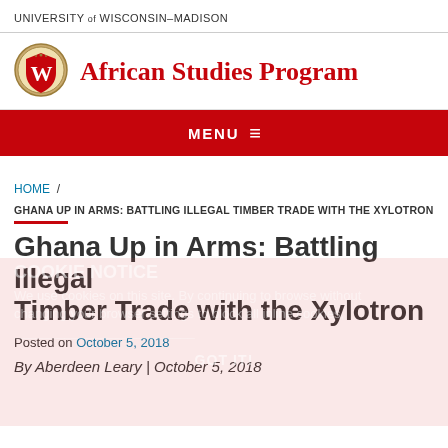UNIVERSITY of WISCONSIN–MADISON
[Figure (logo): University of Wisconsin–Madison crest/badge with W emblem]
African Studies Program
MENU ≡
HOME /
GHANA UP IN ARMS: BATTLING ILLEGAL TIMBER TRADE WITH THE XYLOTRON
COOKIE NOTICE
Ghana Up in Arms: Battling Illegal Timber Trade with the Xylotron
Posted on October 5, 2018
By Aberdeen Leary | October 5, 2018